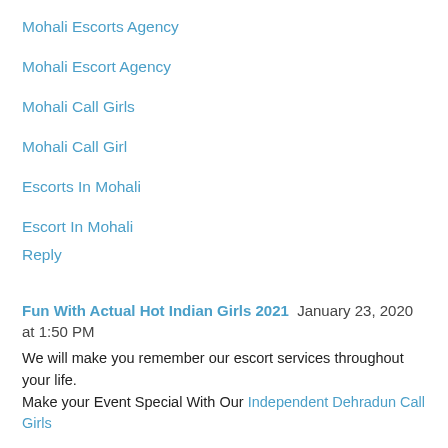Mohali Escorts Agency
Mohali Escort Agency
Mohali Call Girls
Mohali Call Girl
Escorts In Mohali
Escort In Mohali
Reply
Fun With Actual Hot Indian Girls 2021  January 23, 2020 at 1:50 PM
We will make you remember our escort services throughout your life.
Make your Event Special With Our Independent Dehradun Call Girls